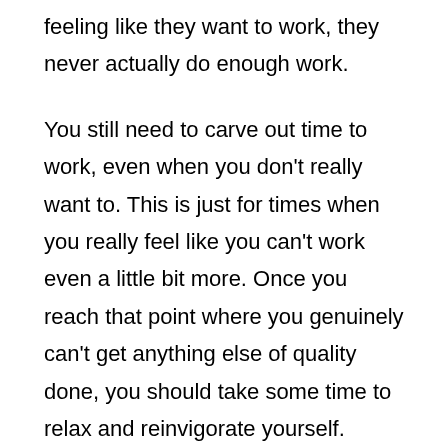feeling like they want to work, they never actually do enough work.
You still need to carve out time to work, even when you don't really want to. This is just for times when you really feel like you can't work even a little bit more. Once you reach that point where you genuinely can't get anything else of quality done, you should take some time to relax and reinvigorate yourself.
It's like refueling after a long drive. It's something that you need to do so that you can continue to move forward, even if you have to stop for a bit. The worst thing you can do to yourself is force yourself to do